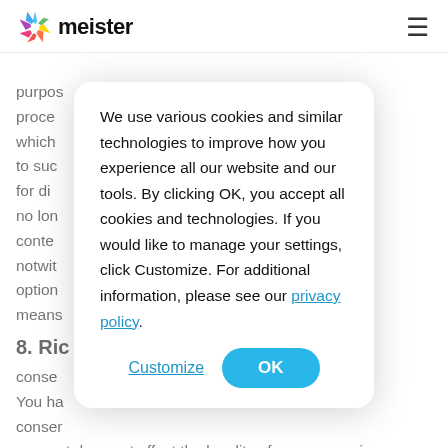meister
purpos... ne to proces... ting, which ... lated to suc... sing for di... a will no lon... e conte... s and notwit... the option... ated means...
[Figure (other): Cookie consent modal dialog with text: We use various cookies and similar technologies to improve how you experience all our website and our tools. By clicking OK, you accept all cookies and technologies. If you would like to manage your settings, click Customize. For additional information, please see our privacy policy. Buttons: Customize, OK]
8. Rig
conse
You ha... n conser... consent does not affect the legality of any processing